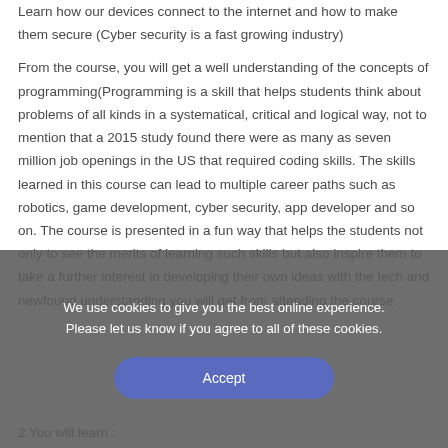Learn how our devices connect to the internet and how to make them secure (Cyber security is a fast growing industry)
From the course, you will get a well understanding of the concepts of programming(Programming is a skill that helps students think about problems of all kinds in a systematical, critical and logical way, not to mention that a 2015 study found there were as many as seven million job openings in the US that required coding skills. The skills learned in this course can lead to multiple career paths such as robotics, game development, cyber security, app developer and so on. The course is presented in a fun way that helps the students not only to see the merits of learning such skills but also inspire them to take a further interest in developing their own ideas with the tech and newfound understanding you will get from attending the course.
We use cookies to give you the best online experience. Please let us know if you agree to all of these cookies.
Accept
2 You will learn :